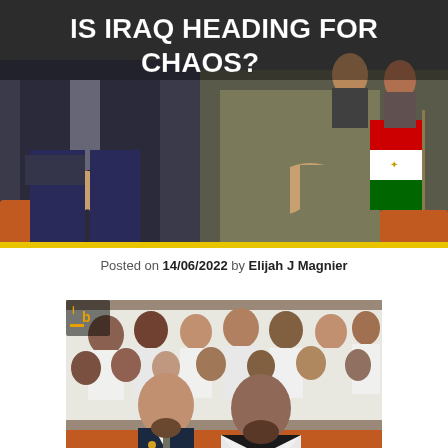[Figure (photo): Two men in suits seated in orange chairs with an Iraqi flag visible on the right, with bold white text overlay reading 'IS IRAQ HEADING FOR CHAOS?']
Posted on 14/06/2022 by Elijah J Magnier
[Figure (photo): Crowd of people wearing white robes seated in an auditorium with orange chairs, two men in dark suits in the foreground, small red flags visible]